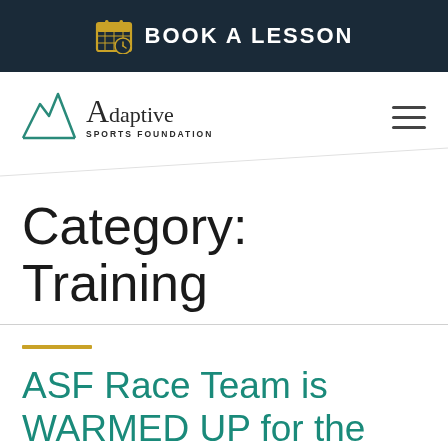BOOK A LESSON
[Figure (logo): Adaptive Sports Foundation logo with mountain icon and text]
Category: Training
ASF Race Team is WARMED UP for the